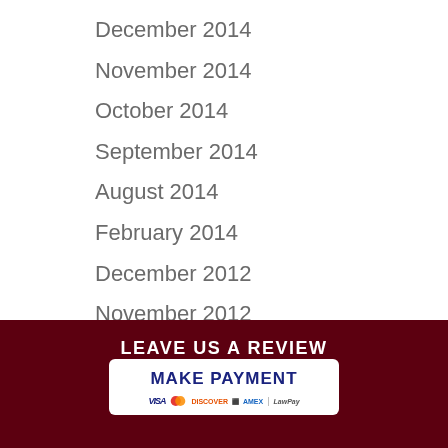December 2014
November 2014
October 2014
September 2014
August 2014
February 2014
December 2012
November 2012
LEAVE US A REVIEW
[Figure (other): Make Payment button with credit card logos: Visa, Mastercard, Discover, Amex, LawPay]